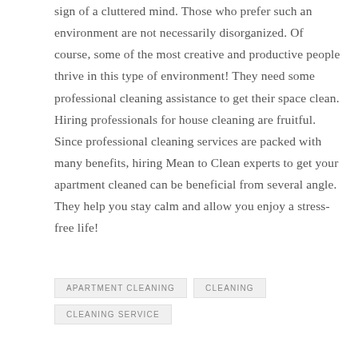sign of a cluttered mind. Those who prefer such an environment are not necessarily disorganized. Of course, some of the most creative and productive people thrive in this type of environment! They need some professional cleaning assistance to get their space clean. Hiring professionals for house cleaning are fruitful. Since professional cleaning services are packed with many benefits, hiring Mean to Clean experts to get your apartment cleaned can be beneficial from several angle. They help you stay calm and allow you enjoy a stress-free life!
APARTMENT CLEANING
CLEANING
CLEANING SERVICE